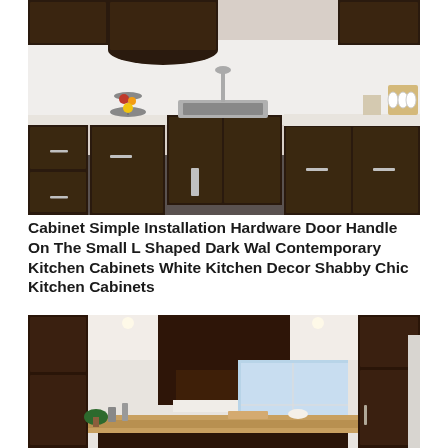[Figure (photo): Dark walnut L-shaped kitchen with dark espresso cabinets, white countertops, silver bar handles, stainless steel sink, fruit stand, knife block, and dish rack on the counter.]
Cabinet Simple Installation Hardware Door Handle On The Small L Shaped Dark Wal Contemporary Kitchen Cabinets White Kitchen Decor Shabby Chic Kitchen Cabinets
[Figure (photo): Dark cherry/espresso kitchen cabinets with a large range hood, kitchen island with butcher block countertop, recessed lighting, window with natural light, and refrigerator visible on the right side.]